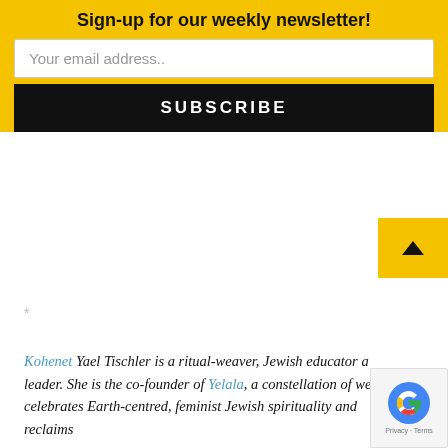Sign-up for our weekly newsletter!
Your email address..
SUBSCRIBE
*
Kohenet Yael Tischler is a ritual-weaver, Jewish educator and leader. She is the co-founder of Yelala, a constellation of we celebrates Earth-centred, feminist Jewish spirituality and reclaims